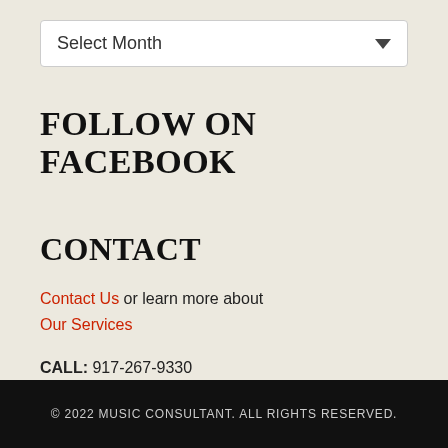[Figure (other): Dropdown UI element labeled 'Select Month' with a downward arrow on the right]
FOLLOW ON FACEBOOK
CONTACT
Contact Us or learn more about Our Services
CALL: 917-267-9330
EMAIL: info@musicconsultant.com
© 2022 MUSIC CONSULTANT. ALL RIGHTS RESERVED.